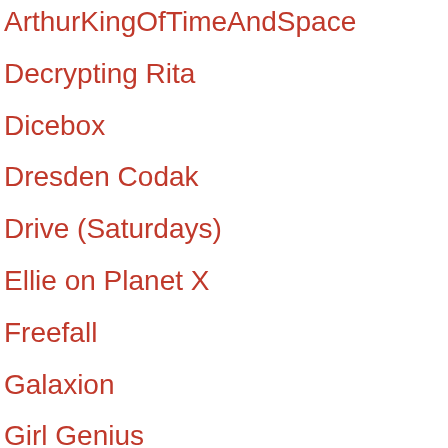ArthurKingOfTimeAndSpace
Decrypting Rita
Dicebox
Dresden Codak
Drive (Saturdays)
Ellie on Planet X
Freefall
Galaxion
Girl Genius
Marooned
Melonpool
Schlock Mercenary
Starslip
Station V3
Comic Links:
Abominable Charles Christopher
Alien Loves Predator
Anders loves Maria
Bad Machine